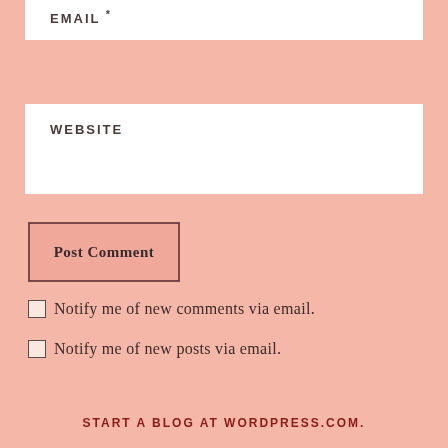EMAIL *
WEBSITE
Post Comment
Notify me of new comments via email.
Notify me of new posts via email.
START A BLOG AT WORDPRESS.COM.